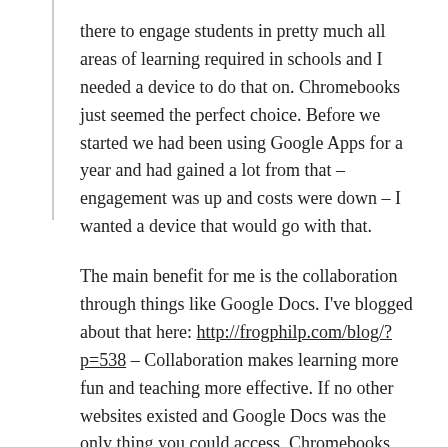there to engage students in pretty much all areas of learning required in schools and I needed a device to do that on. Chromebooks just seemed the perfect choice. Before we started we had been using Google Apps for a year and had gained a lot from that – engagement was up and costs were down – I wanted a device that would go with that.
The main benefit for me is the collaboration through things like Google Docs. I've blogged about that here: http://frogphilp.com/blog/?p=538 – Collaboration makes learning more fun and teaching more effective. If no other websites existed and Google Docs was the only thing you could access, Chromebooks would still be worth it.
REPLY